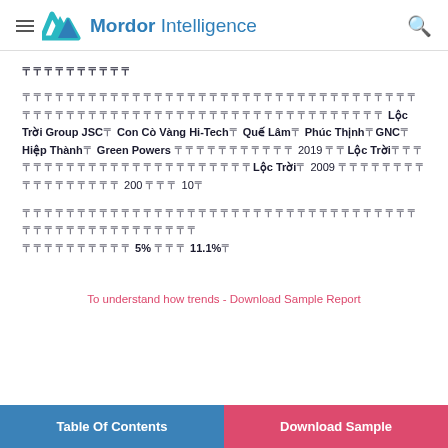Mordor Intelligence
[encoded/unreadable characters]
[encoded text] Lộc Trời Group JSC、Con Cò Vàng Hi-Tech、Quế Lâm、Phúc Thịnh、GNC、Hiệp Thành、Green Powers [encoded] 2019 [encoded] Lộc Trời [encoded] Lộc Trời、2009 [encoded] 200 [encoded] 10[encoded]
[encoded text] 5% [encoded] 11.1%[encoded]
To understand how trends - Download Sample Report
Table Of Contents | Download Sample